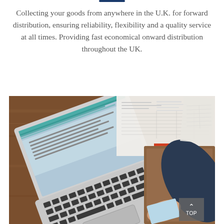Collecting your goods from anywhere in the U.K. for forward distribution, ensuring reliability, flexibility and a quality service at all times. Providing fast economical onward distribution throughout the UK.
[Figure (photo): Overhead view of a person using a laptop computer on a wooden desk, with papers, a folder/clipboard, and a second person's hand handing over a document or card. A 'TOP' back-to-top button is visible in the bottom-right corner of the image.]